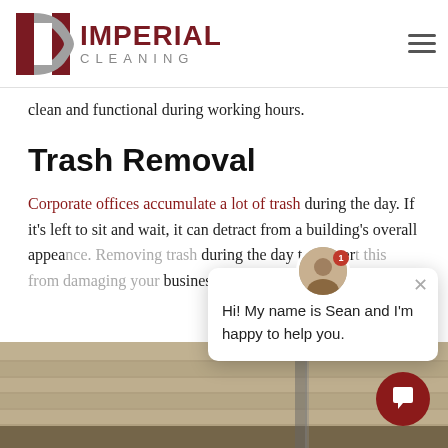[Figure (logo): Imperial Cleaning company logo with stylized IC monogram in dark red and gray, and company name 'IMPERIAL CLEANING' in bold.]
clean and functional during working hours.
Trash Removal
Corporate offices accumulate a lot of trash during the day. If it's left to sit and wait, it can detract from a building's overall appearance. Removing trash during the day to prevent this from damaging your business.
[Figure (screenshot): Chat popup with avatar photo of Sean and message 'Hi! My name is Sean and I'm happy to help you.']
[Figure (photo): Partial photo strip at bottom of page showing an office cleaning scene.]